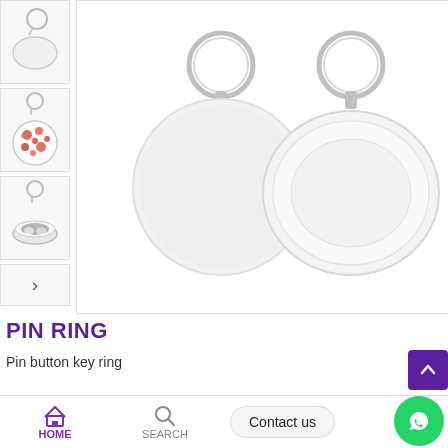[Figure (photo): Left thumbnail 1: plain white oval pin button keyring on white background]
[Figure (photo): Left thumbnail 2: round pin button keyring with floral pattern (red flowers) on white background]
[Figure (photo): Left thumbnail 3: round pin button keyring with black and white pattern, side view]
[Figure (photo): Main product image: two white circular pin button keyrings with metal rings, front and side-edge views, on white background]
PIN RING
Pin button key ring
SKU: M09333-06    Categories: Accessories, Apparel &
HOME    SEARCH    Contact us